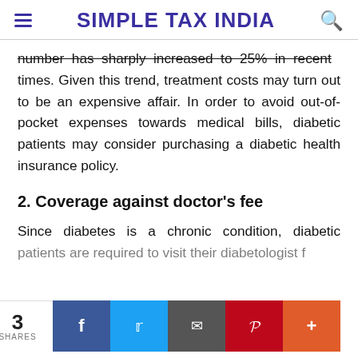SIMPLE TAX INDIA
number has sharply increased to 25% in recent times. Given this trend, treatment costs may turn out to be an expensive affair. In order to avoid out-of-pocket expenses towards medical bills, diabetic patients may consider purchasing adiabetic health insurance policy.
2. Coverage against doctor’s fee
Since diabetes is a chronic condition, diabetic patients are required to visit their diabetologist for